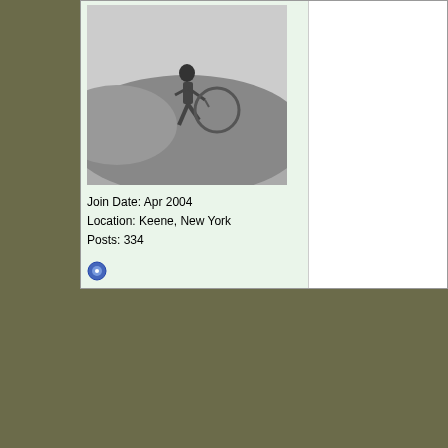[Figure (photo): Black and white photo of a person running on a hillside with a hoop/wheel]
Join Date: Apr 2004
Location: Keene, New York
Posts: 334
03-20-2017, 02:26 PM
AvalanchePass
Member

Join Date: Jul 2016
Posts: 259
Quote:
Originally Posted by Bill I.
The part about the "80 minutes" from a scanner trying to read an that I quoted ("excellent road S^ reasonable doubt about the 80.
Good guess.
Here's another version that does inde